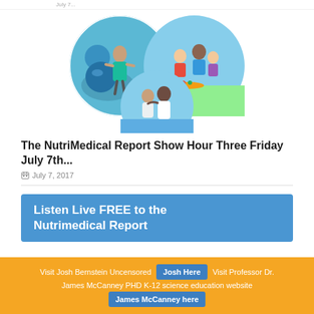July 7...
[Figure (photo): Collage of three circular photos showing healthy lifestyle scenes: a woman exercising on a beach with a blue ball, a family having a picnic outdoors, and an older couple embracing on a beach.]
The NutriMedical Report Show Hour Three Friday July 7th...
July 7, 2017
Listen Live FREE to the Nutrimedical Report
Visit Josh Bernstein Uncensored  Josh Here  Visit Professor Dr. James McCanney PHD K-12 science education website  James McCanney here